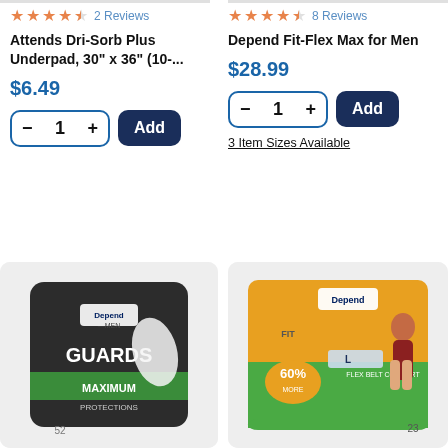★★★★½  2 Reviews
Attends Dri-Sorb Plus Underpad, 30" x 36" (10-...
$6.49
★★★★½  8 Reviews
Depend Fit-Flex Max for Men
$28.99
3 Item Sizes Available
[Figure (photo): Depend Men Guards package - dark grey/black bag with green label, 52 count]
[Figure (photo): Depend Fit-Flex product package - orange and green packaging with woman model, L size, 60% note, 23 count]